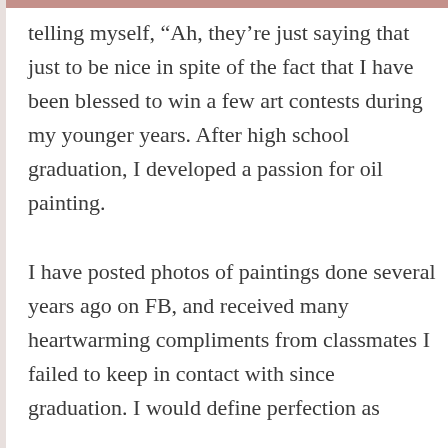telling myself, “Ah, they’re just saying that just to be nice in spite of the fact that I have been blessed to win a few art contests during my younger years. After high school graduation, I developed a passion for oil painting.
I have posted photos of paintings done several years ago on FB, and received many heartwarming compliments from classmates I failed to keep in contact with since graduation. I would define perfection as
working on the same painting for the past